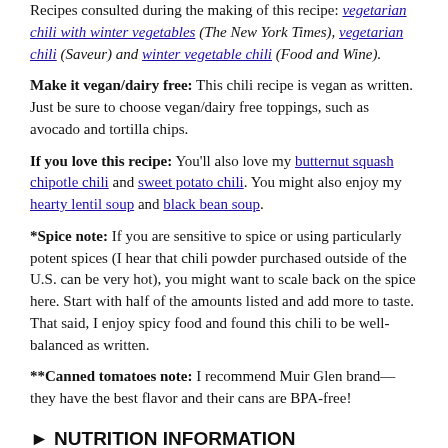Recipes consulted during the making of this recipe: vegetarian chili with winter vegetables (The New York Times), vegetarian chili (Saveur) and winter vegetable chili (Food and Wine).
Make it vegan/dairy free: This chili recipe is vegan as written. Just be sure to choose vegan/dairy free toppings, such as avocado and tortilla chips.
If you love this recipe: You'll also love my butternut squash chipotle chili and sweet potato chili. You might also enjoy my hearty lentil soup and black bean soup.
*Spice note: If you are sensitive to spice or using particularly potent spices (I hear that chili powder purchased outside of the U.S. can be very hot), you might want to scale back on the spice here. Start with half of the amounts listed and add more to taste. That said, I enjoy spicy food and found this chili to be well-balanced as written.
**Canned tomatoes note: I recommend Muir Glen brand—they have the best flavor and their cans are BPA-free!
► NUTRITION INFORMATION